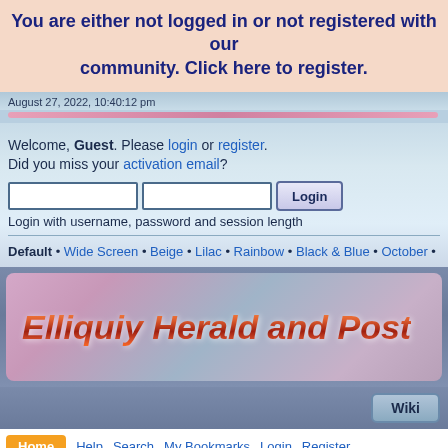You are either not logged in or not registered with our community. Click here to register.
August 27, 2022, 10:40:12 pm
Welcome, Guest. Please login or register.
Did you miss your activation email?
Login with username, password and session length
Default • Wide Screen • Beige • Lilac • Rainbow • Black & Blue • October • Platir
[Figure (screenshot): Elliquiy Herald and Post forum banner with stylized italic text on a blended purple/mauve/blue background]
Wiki
Home  Help  Search  My Bookmarks  Login  Register
Elliquiy Role Playing Forums » Adult Role Playing Requests »